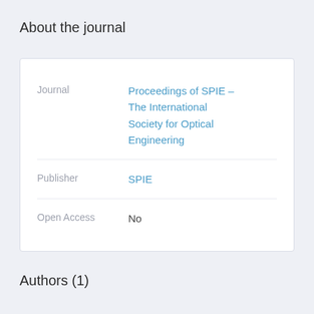About the journal
| Field | Value |
| --- | --- |
| Journal | Proceedings of SPIE - The International Society for Optical Engineering |
| Publisher | SPIE |
| Open Access | No |
Authors (1)